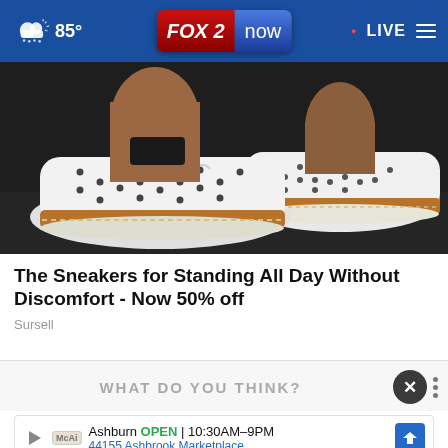FOX 2 now | 85° | LIVE
[Figure (photo): Close-up photo of a person's feet wearing white perforated sneakers with a cork/tan sole and white stitching detail, on a dark surface.]
The Sneakers for Standing All Day Without Discomfort - Now 50% off
Sursell
WHAT DO YOU THINK?
Ashburn OPEN | 10:30AM–9PM
44155 Ashbrook Marketplace, ...
How likely do you think it is, if at all, that the